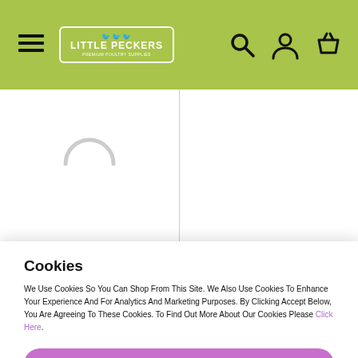[Figure (screenshot): Little Peckers website header with green background, hamburger menu icon, logo, search icon, user icon, and basket icon]
[Figure (other): Loading spinner (partial circle arc) in product listing area]
Cookies
We Use Cookies So You Can Shop From This Site. We Also Use Cookies To Enhance Your Experience And For Analytics And Marketing Purposes. By Clicking Accept Below, You Are Agreeing To These Cookies. To Find Out More About Our Cookies Please Click Here.
Accept
Decline